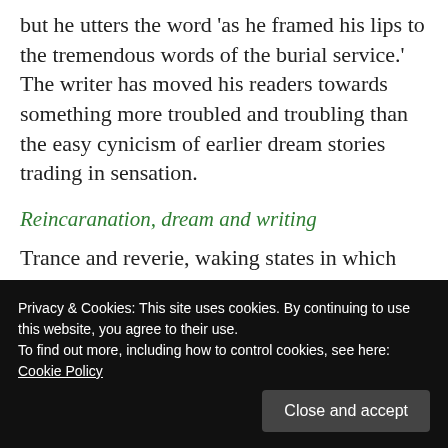but he utters the word 'as he framed his lips to the tremendous words of the burial service.' The writer has moved his readers towards something more troubled and troubling than the easy cynicism of earlier dream stories trading in sensation.
Reincaranation, dream and writing
Trance and reverie, waking states in which the everyday forms of perception give place, are linked with dream in “The Finest Story in the World” (1891)
Privacy & Cookies: This site uses cookies. By continuing to use this website, you agree to their use.
To find out more, including how to control cookies, see here:
Cookie Policy
doesn't appear to question where that knowledge comes from. Nor can he write